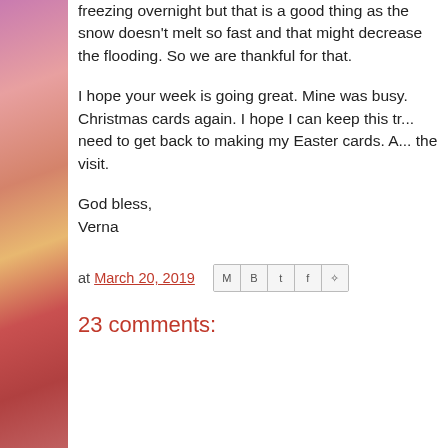freezing overnight but that is a good thing as the snow doesn't melt so fast and that might decrease the flooding. So we are thankful for that.
I hope your week is going great. Mine was busy. Christmas cards again. I hope I can keep this tr... need to get back to making my Easter cards. A... the visit.
God bless,
Verna
at March 20, 2019
23 comments: